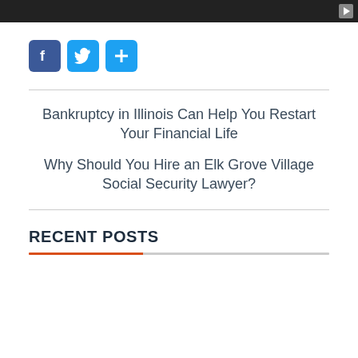[Figure (other): Dark video player bar with a play button icon in the top right corner]
[Figure (other): Social media sharing buttons: Facebook (blue with f), Twitter (blue with bird), and a blue plus/share button]
Bankruptcy in Illinois Can Help You Restart Your Financial Life
Why Should You Hire an Elk Grove Village Social Security Lawyer?
RECENT POSTS